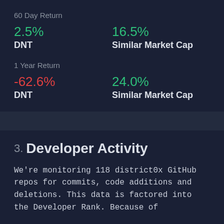60 Day Return
2.5%
DNT
16.5%
Similar Market Cap
1 Year Return
-62.6%
DNT
24.0%
Similar Market Cap
3. Developer Activity
We're monitoring 118 district0x GitHub repos for commits, code additions and deletions. This data is factored into the Developer Rank. Because of